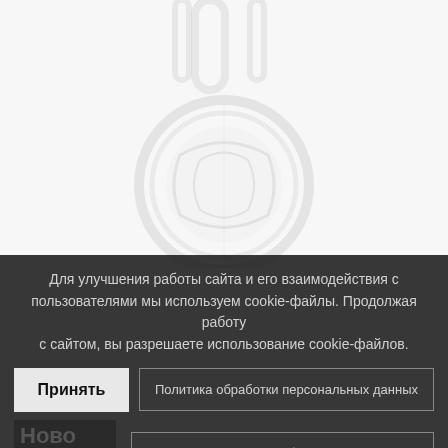[Figure (photo): Faded/light product photo showing what appears to be a decorative round item (possibly a medallion or emblem) on a white/light background]
Для улучшения работы сайта и его взаимодействия с пользователями мы используем cookie-файлы. Продолжая работу с сайтом, вы разрешаете использование cookie-файлов.
Принять
Политика обработки персональных данных
[Figure (logo): Ново сиби logo text in dark background]
Подробнее